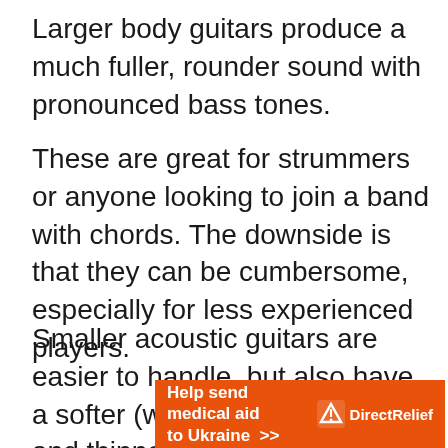Larger body guitars produce a much fuller, rounder sound with pronounced bass tones.
These are great for strummers or anyone looking to join a band with chords. The downside is that they can be cumbersome, especially for less experienced players.
Smaller acoustic guitars are easier to handle, but also have a softer (which isn't too bad) and thinner sound with less bass. However, this may not be a problem if you play fingerstyle,
[Figure (infographic): Orange banner advertisement for Direct Relief: 'Help send medical aid to Ukraine >>' with Direct Relief logo on the right.]